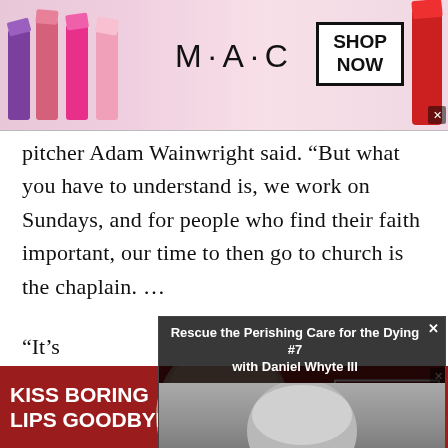[Figure (screenshot): MAC Cosmetics advertisement banner showing lipsticks and 'SHOP NOW' button]
pitcher Adam Wainwright said. “But what you have to understand is, we work on Sundays, and for people who find their faith important, our time to then go to church is the chaplain. …
[Figure (screenshot): Floating video popup titled 'Rescue the Perishing Care for the Dying #7 with Daniel Whyte III' showing a person with glasses]
“It’s
20 p
egos
own
[Figure (screenshot): Macy's advertisement banner reading 'KISS BORING LIPS GOODBYE' with SHOP NOW button and Macy's star logo]